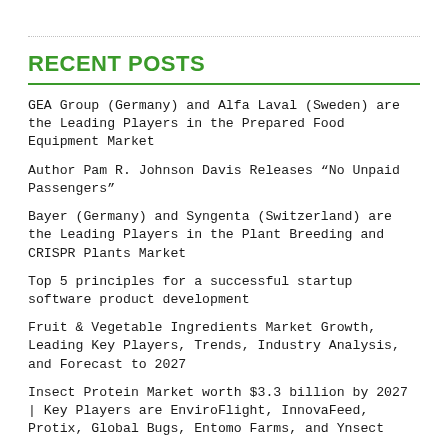RECENT POSTS
GEA Group (Germany) and Alfa Laval (Sweden) are the Leading Players in the Prepared Food Equipment Market
Author Pam R. Johnson Davis Releases “No Unpaid Passengers”
Bayer (Germany) and Syngenta (Switzerland) are the Leading Players in the Plant Breeding and CRISPR Plants Market
Top 5 principles for a successful startup software product development
Fruit & Vegetable Ingredients Market Growth, Leading Key Players, Trends, Industry Analysis, and Forecast to 2027
Insect Protein Market worth $3.3 billion by 2027 | Key Players are EnviroFlight, InnovaFeed, Protix, Global Bugs, Entomo Farms, and Ynsect